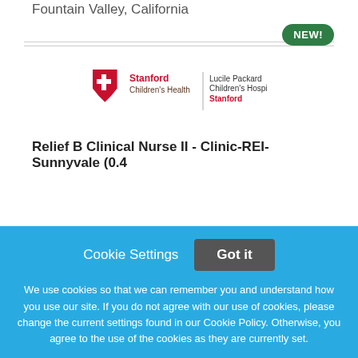Fountain Valley, California
[Figure (logo): Stanford Children's Health | Lucile Packard Children's Hospital Stanford logo]
Relief B Clinical Nurse II - Clinic-REI-Sunnyvale (0.4
Cookie Settings   Got it

We use cookies so that we can remember you and understand how you use our site. If you do not agree with our use of cookies, please change the current settings found in our Cookie Policy. Otherwise, you agree to the use of the cookies as they are currently set.